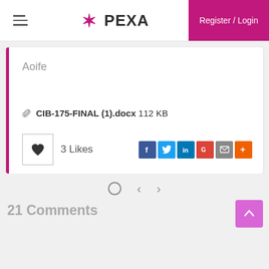[Figure (logo): PEXA logo with star icon on left, text PEXA in bold dark letters]
Register / Login
Aoife
📎 CIB-175-FINAL (1).docx 112 KB
3 Likes
[Figure (other): Social sharing icons: Facebook, Twitter, LinkedIn, Google+, Email, More]
[Figure (other): Navigation: circle, back arrow, forward arrow]
21 Comments